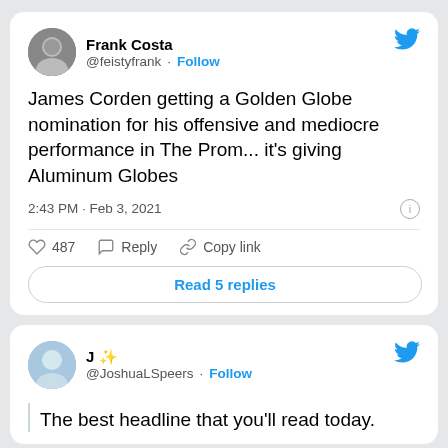Frank Costa @feistyfrank · Follow
James Corden getting a Golden Globe nomination for his offensive and mediocre performance in The Prom... it's giving Aluminum Globes
2:43 PM · Feb 3, 2021
487  Reply  Copy link
Read 5 replies
J ✨ @JoshuaLSpeers · Follow
The best headline that you'll read today.